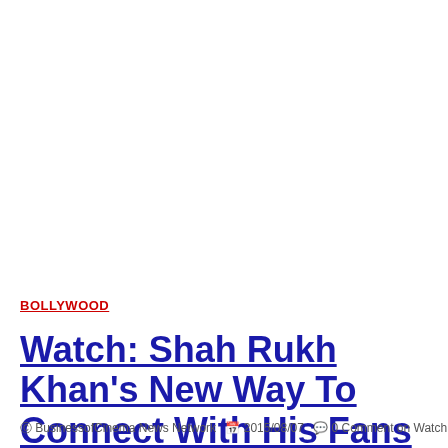BOLLYWOOD
Watch: Shah Rukh Khan's New Way To Connect With His Fans Live!
BusinessofCinema News Network  2015/08/07  0 Comment on Watch: Shah Ruk